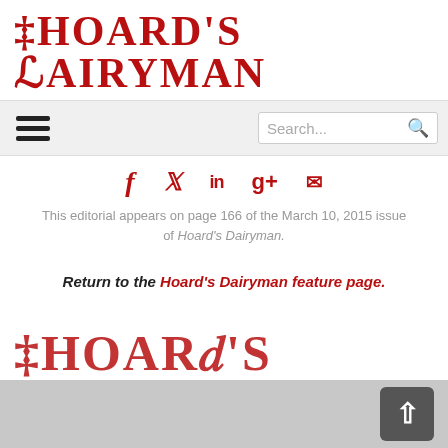HOARD'S DAIRYMAN
[Figure (screenshot): Navigation bar with hamburger menu icon and search box]
[Figure (infographic): Social media icons: Facebook (f), Twitter (bird), LinkedIn (in), Google+ (g+), Email (envelope) in red]
This editorial appears on page 166 of the March 10, 2015 issue of Hoard's Dairyman.
Return to the Hoard's Dairyman feature page.
[Figure (logo): Hoard's Dairyman logo at bottom of page, partially cut off]
[Figure (screenshot): Gray footer area with scroll-to-top button (white arrow on dark background)]